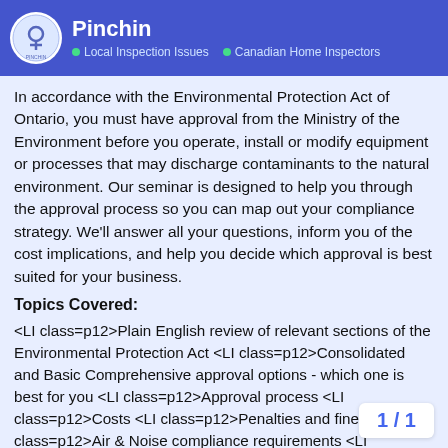Pinchin — Local Inspection Issues · Canadian Home Inspectors
In accordance with the Environmental Protection Act of Ontario, you must have approval from the Ministry of the Environment before you operate, install or modify equipment or processes that may discharge contaminants to the natural environment. Our seminar is designed to help you through the approval process so you can map out your compliance strategy. We'll answer all your questions, inform you of the cost implications, and help you decide which approval is best suited for your business.
Topics Covered:
<LI class=p12>Plain English review of relevant sections of the Environmental Protection Act <LI class=p12>Consolidated and Basic Comprehensive approval options - which one is best for you <LI class=p12>Approval process <LI class=p12>Costs <LI class=p12>Penalties and fines <LI class=p12>Air & Noise compliance requirements <LI class=p12>Air Pollution Regulation (O.Reg 419/05) - when and how <LI class=p12>Environmental resources -
1 / 1